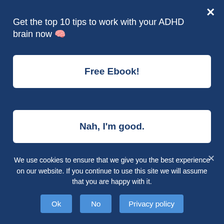[Figure (screenshot): Modal popup overlay with dark blue background showing 'Get the top 10 tips to work with your ADHD brain now' with two white buttons: 'Free Ebook!' and 'Nah, I'm good.' and an X close button]
you'll create the life you truly want.
What Do YOU Want?
So again,
[Figure (screenshot): Cookie consent banner at the bottom with dark blue background, text 'We use cookies to ensure that we give you the best experience on our website. If you continue to use this site we will assume that you are happy with it.' and three buttons: Ok, No, Privacy policy]